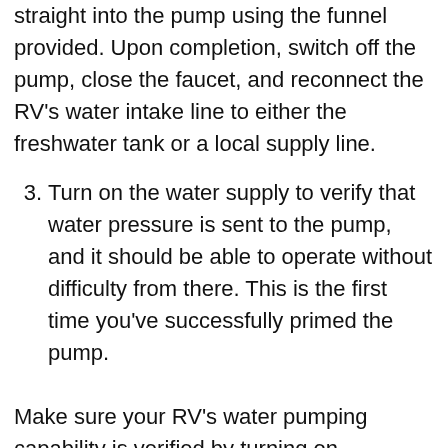straight into the pump using the funnel provided. Upon completion, switch off the pump, close the faucet, and reconnect the RV’s water intake line to either the freshwater tank or a local supply line.
3. Turn on the water supply to verify that water pressure is sent to the pump, and it should be able to operate without difficulty from there. This is the first time you’ve successfully primed the pump.
Make sure your RV’s water pumping capability is verified by turning on additional taps and allowing the system to exhaust all of the air that has accumulated throughout the priming procedure. This will re-energize the water system and guarantee that it continues to operate well in